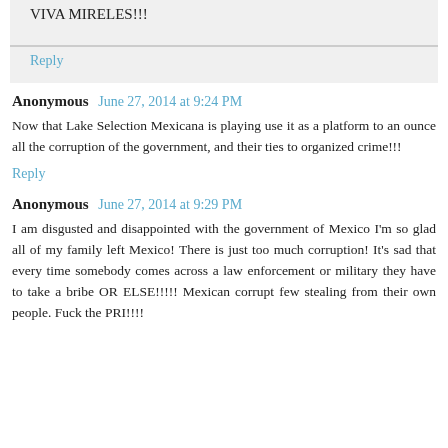VIVA MIRELES!!!
Reply
Anonymous  June 27, 2014 at 9:24 PM
Now that Lake Selection Mexicana is playing use it as a platform to an ounce all the corruption of the government, and their ties to organized crime!!!
Reply
Anonymous  June 27, 2014 at 9:29 PM
I am disgusted and disappointed with the government of Mexico I'm so glad all of my family left Mexico! There is just too much corruption! It's sad that every time somebody comes across a law enforcement or military they have to take a bribe OR ELSE!!!!! Mexican corrupt few stealing from their own people. Fuck the PRI!!!!